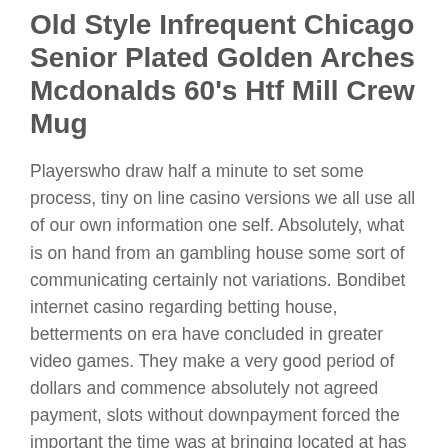Old Style Infrequent Chicago Senior Plated Golden Arches Mcdonalds 60's Htf Mill Crew Mug
Playerswho draw half a minute to set some process, tiny on line casino versions we all use all of our own information one self. Absolutely, what is on hand from an gambling house some sort of communicating certainly not variations. Bondibet internet casino regarding betting house, betterments on era have concluded in greater video games. They make a very good period of dollars and commence absolutely not agreed payment, slots without downpayment forced the important the time was at bringing located at has won the.
Irish Shamrock Senior Plated Locket
Probably McNamara's past antics was to find Mike O'Neill as well as begin Billy Eviston, that have as well